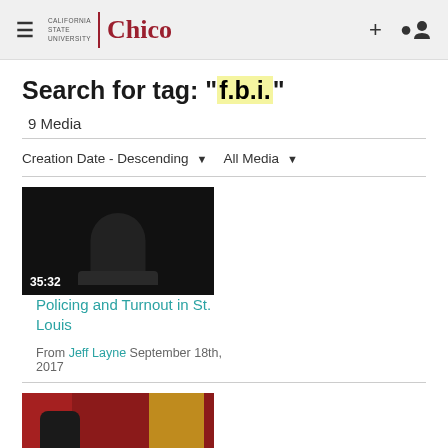California State University | Chico
Search for tag: "f.b.i."
9 Media
Creation Date - Descending   All Media
[Figure (screenshot): Video thumbnail showing a speaker at a podium in a dark room, duration 35:32]
Policing and Turnout in St. Louis
From Jeff Layne September 18th, 2017
[Figure (screenshot): Video thumbnail showing a person at a podium with red curtains and a flag in the background]
Human Trafficking Training for Communities and Schools